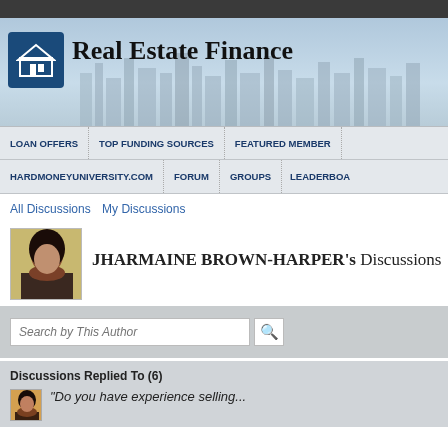[Figure (screenshot): Real Estate Finance website header with blue house logo icon and city skyline background]
Real Estate Finance
LOAN OFFERS | TOP FUNDING SOURCES | FEATURED MEMBER | HARDMONEYUNIVERSITY.COM | FORUM | GROUPS | LEADERBOARD
All Discussions   My Discussions
JHARMAINE BROWN-HARPER's Discussions
Search by This Author
Discussions Replied To (6)